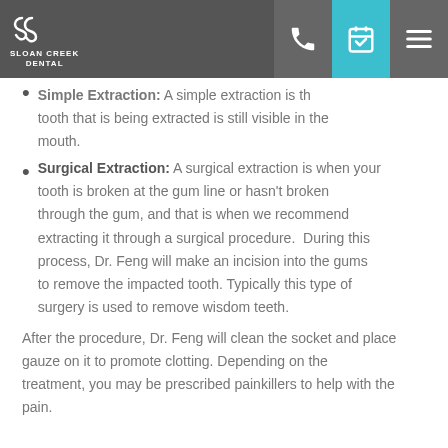Sloan Creek Dental — Navigation bar with logo and icons
Simple Extraction: A simple extraction is the process of removing a tooth that is being extracted and is still visible in the mouth.
Surgical Extraction: A surgical extraction is when your tooth is broken at the gum line or hasn't broken through the gum, and that is when we recommend extracting it through a surgical procedure.  During this process, Dr. Feng will make an incision into the gums to remove the impacted tooth. Typically this type of surgery is used to remove wisdom teeth.
After the procedure, Dr. Feng will clean the socket and place gauze on it to promote clotting. Depending on the treatment, you may be prescribed painkillers to help with the pain.